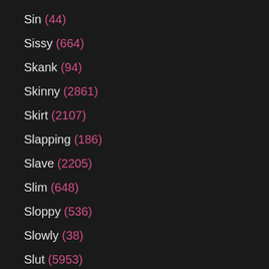Sin (44)
Sissy (664)
Skank (94)
Skinny (2861)
Skirt (2107)
Slapping (186)
Slave (2205)
Slim (648)
Sloppy (536)
Slowly (38)
Slut (5953)
Small Cock (68)
Small Tits (4600)
Smoking (423)
Smooth (62)
Smothering (...)